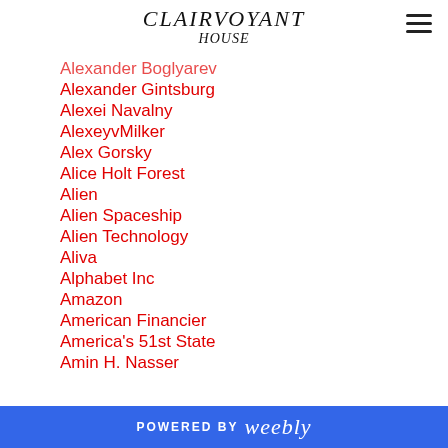CLAIRVOYANT HOUSE
Alexander Boglyarev
Alexander Gintsburg
Alexei Navalny
AlexeyvMilker
Alex Gorsky
Alice Holt Forest
Alien
Alien Spaceship
Alien Technology
Aliva
Alphabet Inc
Amazon
American Financier
America's 51st State
Amin H. Nasser
POWERED BY weebly